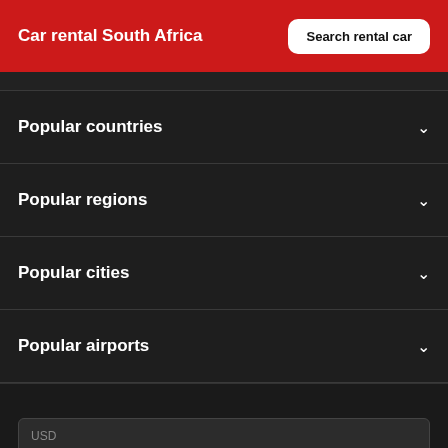Car rental South Africa
Search rental car
Popular countries
Popular regions
Popular cities
Popular airports